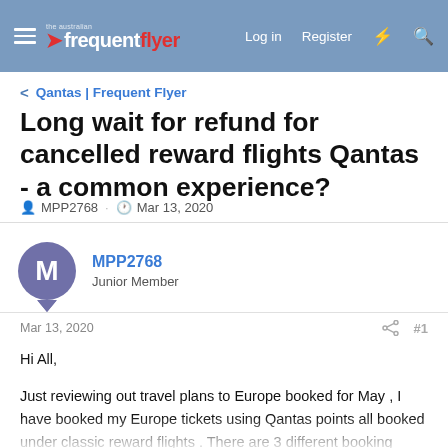the australian frequent flyer | Log in | Register
< Qantas | Frequent Flyer
Long wait for refund for cancelled reward flights Qantas - a common experience?
MPP2768 · Mar 13, 2020
MPP2768
Junior Member
Mar 13, 2020  #1
Hi All,

Just reviewing out travel plans to Europe booked for May , I have booked my Europe tickets using Qantas points all booked under classic reward flights . There are 3 different booking reference nos. as i booked them as the classic award tickets became available as below
Leg 1 Mel-Sin- Mel